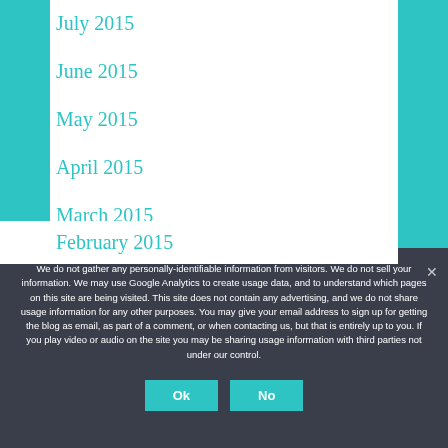July 2015
June 2015
May 2015
April 2015
March 2015
February 2015
We do not gather any personally-identifiable information from visitors. We do not sell your information. We may use Google Analytics to create usage data, and to understand which pages on this site are being visited. This site does not contain any advertising, and we do not share usage information for any other purposes. You may give your email address to sign up for getting the blog as email, as part of a comment, or when contacting us, but that is entirely up to you. If you play video or audio on the site you may be sharing usage information with third parties not under our control.
Ok
No